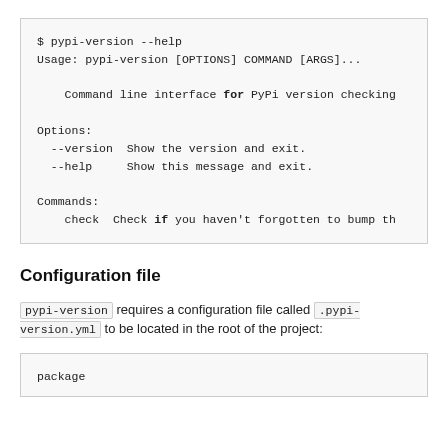[Figure (screenshot): Terminal/code block showing pypi-version --help output with options and commands]
Configuration file
pypi-version requires a configuration file called .pypi-version.yml to be located in the root of the project:
[Figure (screenshot): Code block showing start of configuration file with 'package' key]